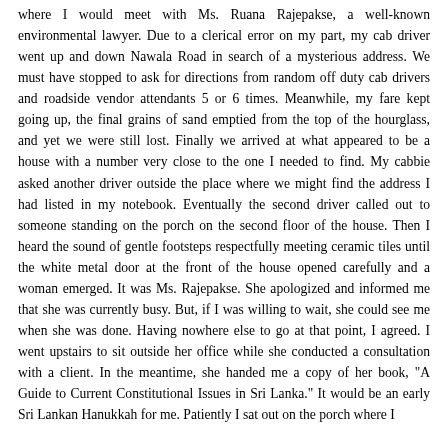where I would meet with Ms. Ruana Rajepakse, a well-known environmental lawyer. Due to a clerical error on my part, my cab driver went up and down Nawala Road in search of a mysterious address. We must have stopped to ask for directions from random off duty cab drivers and roadside vendor attendants 5 or 6 times. Meanwhile, my fare kept going up, the final grains of sand emptied from the top of the hourglass, and yet we were still lost. Finally we arrived at what appeared to be a house with a number very close to the one I needed to find. My cabbie asked another driver outside the place where we might find the address I had listed in my notebook. Eventually the second driver called out to someone standing on the porch on the second floor of the house. Then I heard the sound of gentle footsteps respectfully meeting ceramic tiles until the white metal door at the front of the house opened carefully and a woman emerged. It was Ms. Rajepakse. She apologized and informed me that she was currently busy. But, if I was willing to wait, she could see me when she was done. Having nowhere else to go at that point, I agreed. I went upstairs to sit outside her office while she conducted a consultation with a client. In the meantime, she handed me a copy of her book, "A Guide to Current Constitutional Issues in Sri Lanka." It would be an early Sri Lankan Hanukkah for me. Patiently I sat out on the porch where I